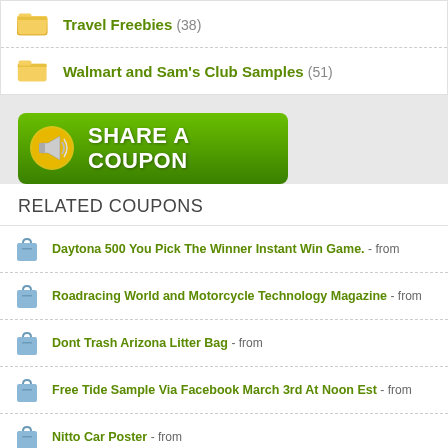Travel Freebies (38)
Walmart and Sam's Club Samples (51)
[Figure (illustration): Green gradient banner button with megaphone icon and text 'SHARE A COUPON']
RELATED COUPONS
Daytona 500 You Pick The Winner Instant Win Game. - from
Roadracing World and Motorcycle Technology Magazine - from
Dont Trash Arizona Litter Bag - from
Free Tide Sample Via Facebook March 3rd At Noon Est - from
Nitto Car Poster - from